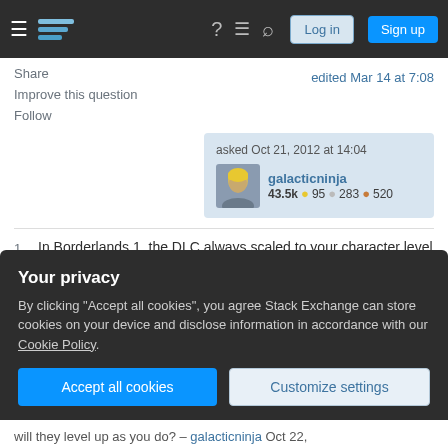Stack Exchange navigation bar with hamburger, logo, help, chat, search, Log in, Sign up
Share
Improve this question
Follow
edited Mar 14 at 7:08
asked Oct 21, 2012 at 14:04 galacticninja 43.5k 🥇95 🥈283 🥉520
In Borderlands 1, the DLC always scaled to your character level when you first visited it. The Borderlands 2 DLC seems to behave the same way.
Your privacy
By clicking "Accept all cookies", you agree Stack Exchange can store cookies on your device and disclose information in accordance with our Cookie Policy.
Accept all cookies
Customize settings
will they level up as you do? — galacticninja Oct 22,